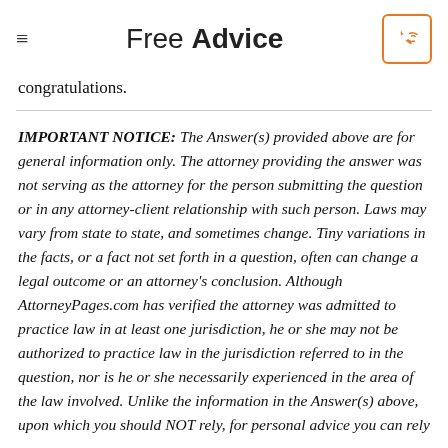Free Advice
congratulations.
IMPORTANT NOTICE: The Answer(s) provided above are for general information only. The attorney providing the answer was not serving as the attorney for the person submitting the question or in any attorney-client relationship with such person. Laws may vary from state to state, and sometimes change. Tiny variations in the facts, or a fact not set forth in a question, often can change a legal outcome or an attorney's conclusion. Although AttorneyPages.com has verified the attorney was admitted to practice law in at least one jurisdiction, he or she may not be authorized to practice law in the jurisdiction referred to in the question, nor is he or she necessarily experienced in the area of the law involved. Unlike the information in the Answer(s) above, upon which you should NOT rely, for personal advice you can rely